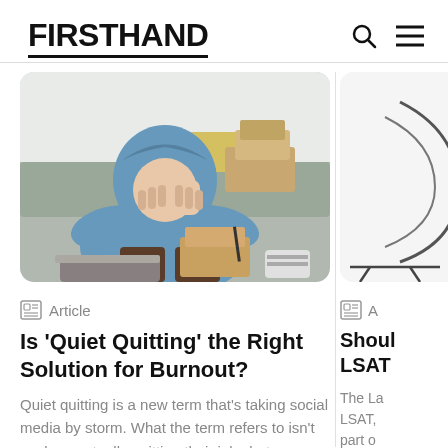FIRSTHAND
[Figure (photo): Person in a blue hoodie sitting with face buried in hands, surrounded by cardboard boxes on a couch, suggesting stress or burnout]
Article
Is 'Quiet Quitting' the Right Solution for Burnout?
Quiet quitting is a new term that's taking social media by storm. What the term refers to isn't workers actually quitting their jobs but...
[Figure (photo): Partial image of another article card on the right side, appears to show an illustration or diagram]
A
Shoul LSAT
The La LSAT, part o proce